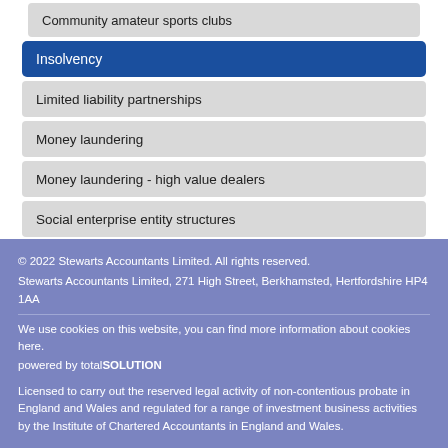Community amateur sports clubs
Insolvency
Limited liability partnerships
Money laundering
Money laundering - high value dealers
Social enterprise entity structures
© 2022 Stewarts Accountants Limited. All rights reserved.
Stewarts Accountants Limited, 271 High Street, Berkhamsted, Hertfordshire HP4 1AA
We use cookies on this website, you can find more information about cookies here.
powered by totalSOLUTION
Licensed to carry out the reserved legal activity of non-contentious probate in England and Wales and regulated for a range of investment business activities by the Institute of Chartered Accountants in England and Wales.